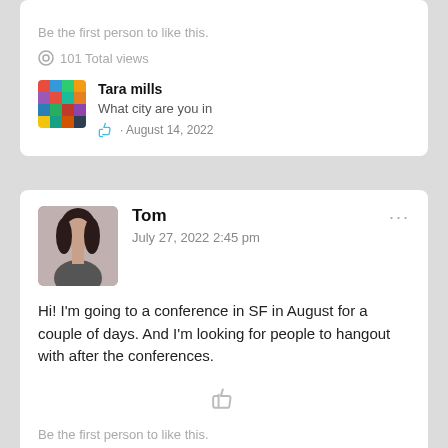Be the first person to like this.
101 Total views
Tara mills
What city are you in
August 14, 2022
Tom
July 27, 2022 2:45 pm
Hi! I'm going to a conference in SF in August for a couple of days. And I'm looking for people to hangout with after the conferences.
Be the first person to like this.
79 Total views